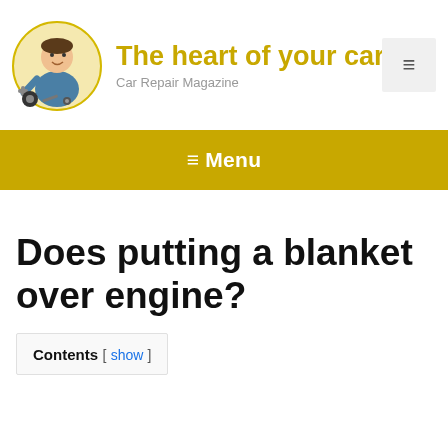[Figure (logo): Car repair mechanic cartoon logo illustration with tools]
The heart of your car
Car Repair Magazine
[Figure (other): Hamburger menu icon button]
≡ Menu
Does putting a blanket over engine?
Contents [ show ]